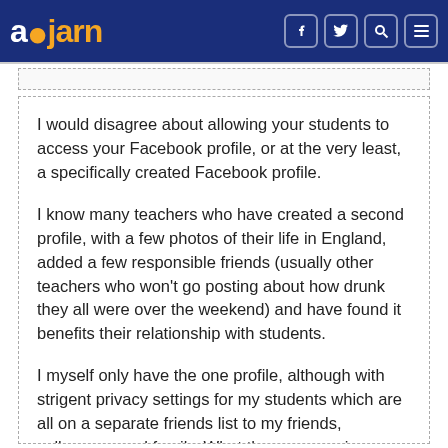ajarn
I would disagree about allowing your students to access your Facebook profile, or at the very least, a specifically created Facebook profile.
I know many teachers who have created a second profile, with a few photos of their life in England, added a few responsible friends (usually other teachers who won't go posting about how drunk they all were over the weekend) and have found it benefits their relationship with students.
I myself only have the one profile, although with strigent privacy settings for my students which are all on a separate friends list to my friends, colleagues and family. What they can see is very restricted compared to my